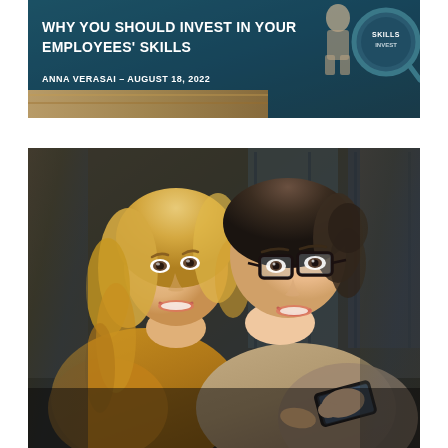[Figure (photo): Article header image showing decorative background with teal/dark tones, a wooden plank accent, a circular magnifier graphic, and a figure silhouette. Overlaid with article title and byline.]
WHY YOU SHOULD INVEST IN YOUR EMPLOYEES' SKILLS
ANNA VERASAI - AUGUST 18, 2022
[Figure (photo): Photograph of two women smiling and looking at a smartphone together. The woman on the left has long blonde hair and is wearing a mustard/yellow top. The woman on the right has dark hair pulled back, wears glasses and a light beige/tan jacket, and is holding the phone. The background is blurred urban/office setting.]